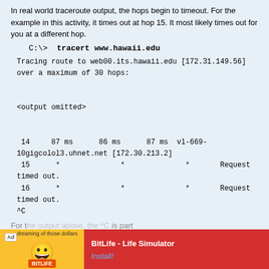In real world traceroute output, the hops begin to timeout. For the example in this activity, it times out at hop 15. It most likely times out for you at a different hop.
C:\> tracert www.hawaii.edu
Tracing route to web00.its.hawaii.edu [172.31.149.56]
over a maximum of 30 hops:
<output omitted>
14     87 ms      86 ms      87 ms  vl-669-
10gigcolol3.uhnet.net [172.30.213.2]
 15      *              *              *      Request timed out.
 16      *              *              *      Request timed out.
^C
[Figure (screenshot): Advertisement banner for BitLife - Life Simulator app with Install button]
For t... is part of thi... ure begins to timeout.
It is common for routers and other devices such as a web server not